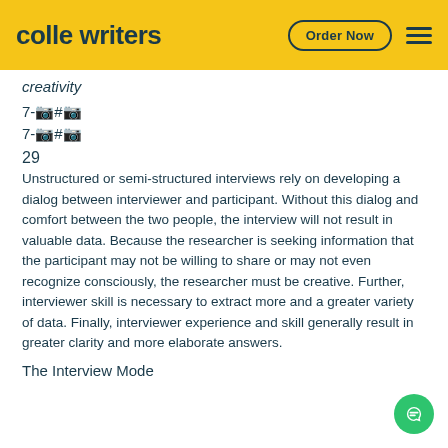colle writers   Order Now
creativity
7-📷#📷
7-📷#📷
29
Unstructured or semi-structured interviews rely on developing a dialog between interviewer and participant. Without this dialog and comfort between the two people, the interview will not result in valuable data. Because the researcher is seeking information that the participant may not be willing to share or may not even recognize consciously, the researcher must be creative. Further, interviewer skill is necessary to extract more and a greater variety of data. Finally, interviewer experience and skill generally result in greater clarity and more elaborate answers.
The Interview Mode